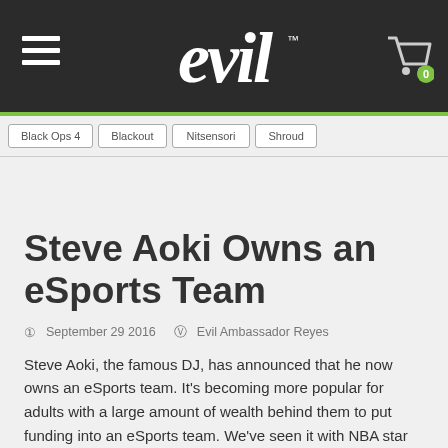evil™
[Figure (logo): Evil Geniuses logo in gothic font on dark background with hamburger menu and cart icon]
Black Ops 4   Blackout   Nitsensori   Shroud
Steve Aoki Owns an eSports Team
September 29 2016   Evil Ambassador Reyes
Steve Aoki, the famous DJ, has announced that he now owns an eSports team. It's becoming more popular for adults with a large amount of wealth behind them to put funding into an eSports team. We've seen it with NBA star Shaq, Rick Fox and NFL players too. Now, we're seeing the first DJ get in on the eSports action...